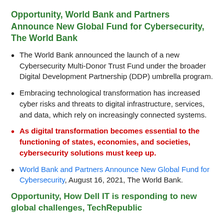Opportunity, World Bank and Partners Announce New Global Fund for Cybersecurity, The World Bank
The World Bank announced the launch of a new Cybersecurity Multi-Donor Trust Fund under the broader Digital Development Partnership (DDP) umbrella program.
Embracing technological transformation has increased cyber risks and threats to digital infrastructure, services, and data, which rely on increasingly connected systems.
As digital transformation becomes essential to the functioning of states, economies, and societies, cybersecurity solutions must keep up.
World Bank and Partners Announce New Global Fund for Cybersecurity, August 16, 2021, The World Bank.
Opportunity, How Dell IT is responding to new global challenges, TechRepublic